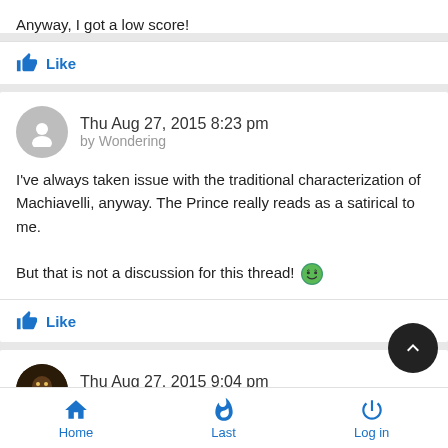Anyway, I got a low score!
Like
Thu Aug 27, 2015 8:23 pm by Wondering
I've always taken issue with the traditional characterization of Machiavelli, anyway. The Prince really reads as a satirical to me.

But that is not a discussion for this thread! 😄
Like
Thu Aug 27, 2015 9:04 pm by nearly_takuan
Home   Last   Log in